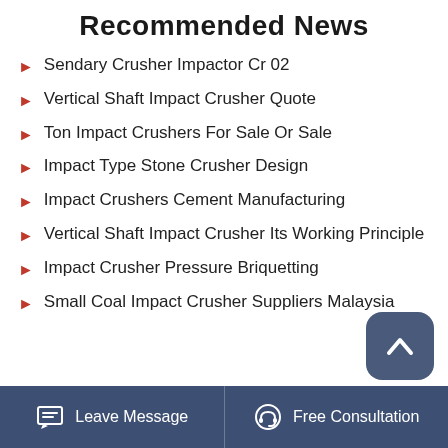Recommended News
Sendary Crusher Impactor Cr 02
Vertical Shaft Impact Crusher Quote
Ton Impact Crushers For Sale Or Sale
Impact Type Stone Crusher Design
Impact Crushers Cement Manufacturing
Vertical Shaft Impact Crusher Its Working Principle
Impact Crusher Pressure Briquetting
Small Coal Impact Crusher Suppliers Malaysia
Leave Message   Free Consultation